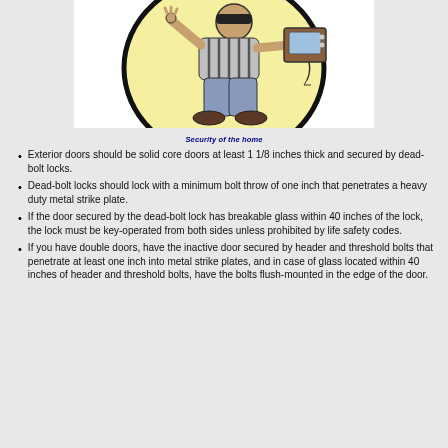[Figure (illustration): Cartoon illustration of a burglar carrying a TV set, walking sneakily against a yellow circular background with black border]
Security of the home
Exterior doors should be solid core doors at least 1 1/8 inches thick and secured by dead-bolt locks.
Dead-bolt locks should lock with a minimum bolt throw of one inch that penetrates a heavy duty metal strike plate.
If the door secured by the dead-bolt lock has breakable glass within 40 inches of the lock, the lock must be key-operated from both sides unless prohibited by life safety codes.
If you have double doors, have the inactive door secured by header and threshold bolts that penetrate at least one inch into metal strike plates, and in case of glass located within 40 inches of header and threshold bolts, have the bolts flush-mounted in the edge of the door.